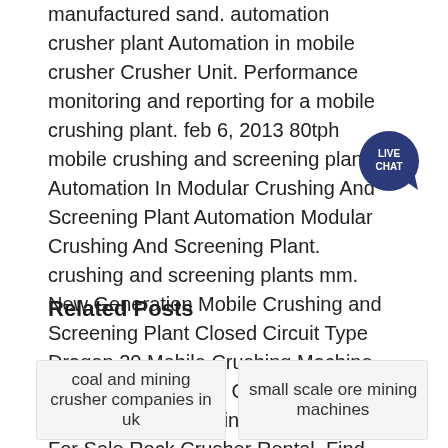manufactured sand. automation crusher plant Automation in mobile crusher Crusher Unit. Performance monitoring and reporting for a mobile crushing plant. feb 6, 2013 80tph mobile crushing and screening plant » Automation In Modular Crushing And Screening Plant Automation Modular Crushing And Screening Plant. crushing and screening plants mm. New Generation Mobile Crushing and Screening Plant Closed Circuit Type Dragon 20 Mobile Crushing Machine Plant For Sale Rock Crusher RentalMobile Crushing Machine Plant For Sale Rock Crusher Rental, Find Complete Details about Mobile Crushing Machine Plant For Sale Rock Crusher Rental,Rock Crusher
[Figure (other): Live Chat speech bubble icon with teal/blue gradient and white text reading LIVE CHAT]
Related Posts
coal and mining crusher companies in uk
small scale ore mining machines